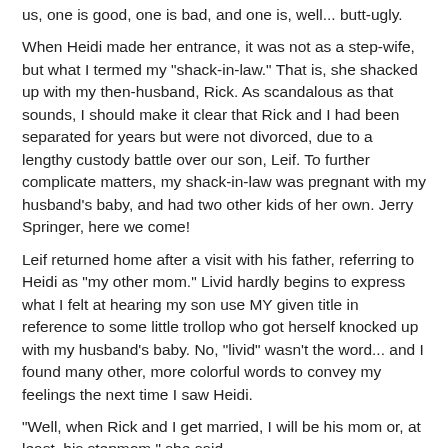us, one is good, one is bad, and one is, well... butt-ugly.
When Heidi made her entrance, it was not as a step-wife, but what I termed my "shack-in-law." That is, she shacked up with my then-husband, Rick. As scandalous as that sounds, I should make it clear that Rick and I had been separated for years but were not divorced, due to a lengthy custody battle over our son, Leif. To further complicate matters, my shack-in-law was pregnant with my husband's baby, and had two other kids of her own. Jerry Springer, here we come!
Leif returned home after a visit with his father, referring to Heidi as "my other mom." Livid hardly begins to express what I felt at hearing my son use MY given title in reference to some little trollop who got herself knocked up with my husband's baby. No, "livid" wasn't the word... and I found many other, more colorful words to convey my feelings the next time I saw Heidi.
"Well, when Rick and I get married, I will be his mom or, at least, his stepmom," she said.